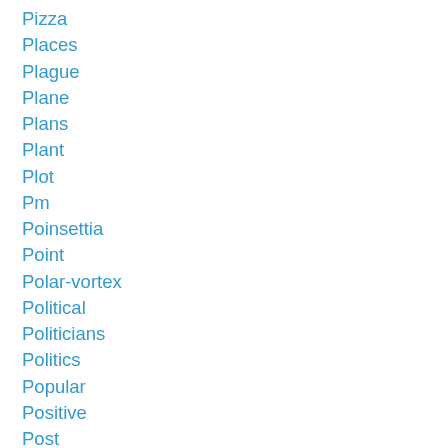Pizza
Places
Plague
Plane
Plans
Plant
Plot
Pm
Poinsettia
Point
Polar-vortex
Political
Politicians
Politics
Popular
Positive
Post
Potential
Power
Powerful
Pray